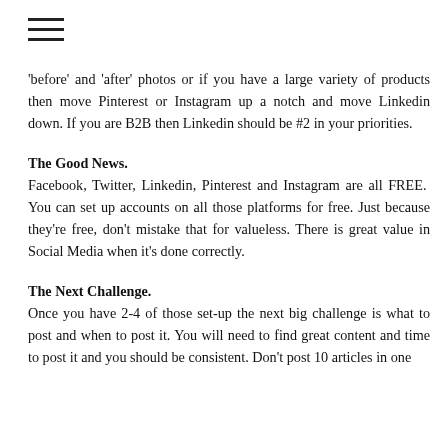'before' and 'after' photos or if you have a large variety of products then move Pinterest or Instagram up a notch and move Linkedin down. If you are B2B then Linkedin should be #2 in your priorities.
The Good News.
Facebook, Twitter, Linkedin, Pinterest and Instagram are all FREE.  You can set up accounts on all those platforms for free. Just because they're free, don't mistake that for valueless. There is great value in Social Media when it's done correctly.
The Next Challenge.
Once you have 2-4 of those set-up the next big challenge is what to post and when to post it. You will need to find great content and time to post it and you should be consistent. Don't post 10 articles in one